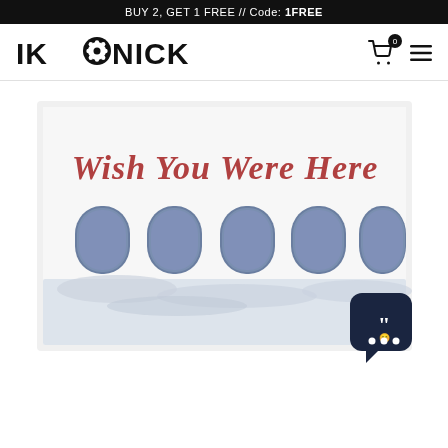BUY 2, GET 1 FREE // Code: 1FREE
[Figure (logo): IKONICK brand logo with a film reel icon replacing the letter O]
[Figure (photo): Canvas art print showing 'Wish You Were Here' text in red script over an airplane fuselage with five oval windows and clouds below, on a white background]